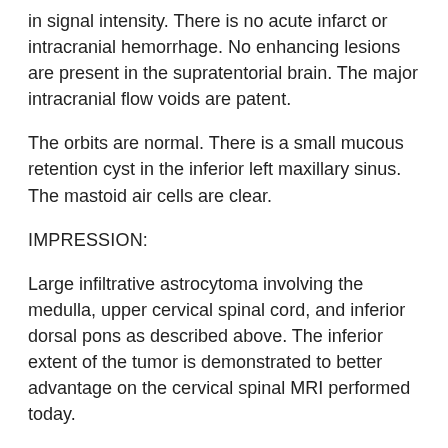in signal intensity. There is no acute infarct or intracranial hemorrhage. No enhancing lesions are present in the supratentorial brain. The major intracranial flow voids are patent.
The orbits are normal. There is a small mucous retention cyst in the inferior left maxillary sinus. The mastoid air cells are clear.
IMPRESSION:
Large infiltrative astrocytoma involving the medulla, upper cervical spinal cord, and inferior dorsal pons as described above. The inferior extent of the tumor is demonstrated to better advantage on the cervical spinal MRI performed today.
No neurological consultation is recommended